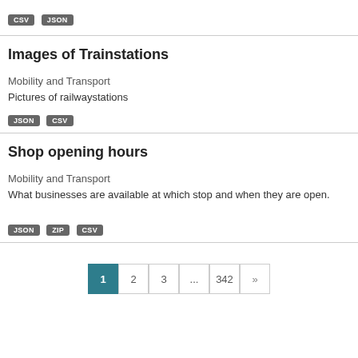CSV JSON
Images of Trainstations
Mobility and Transport
Pictures of railwaystations
JSON CSV
Shop opening hours
Mobility and Transport
What businesses are available at which stop and when they are open.
JSON ZIP CSV
1 2 3 ... 342 »